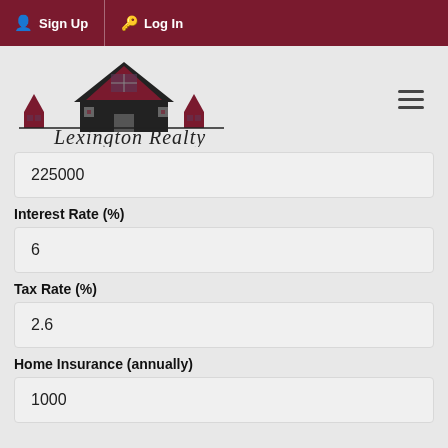Sign Up  Log In
[Figure (logo): Lexington Realty logo with house silhouette and script text]
225000
Interest Rate (%)
6
Tax Rate (%)
2.6
Home Insurance (annually)
1000